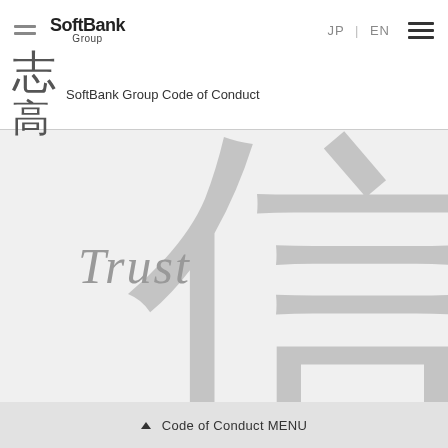SoftBank Group | JP | EN
SoftBank Group Code of Conduct
[Figure (illustration): Large calligraphic Japanese kanji character meaning 'trust/faith' (信) rendered in brush-stroke style in grey, overlaid with the italic English word 'Trust' in grey on a light grey background]
▲ Code of Conduct MENU